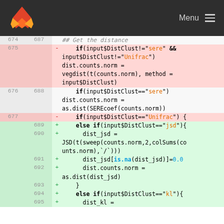Menu
[Figure (screenshot): GitLab code diff view showing lines 674-695 of an R script. Lines 675 and 677 are deletions (red), lines 689-695 are additions (green), and lines 674, 676, 688 are neutral context lines.]